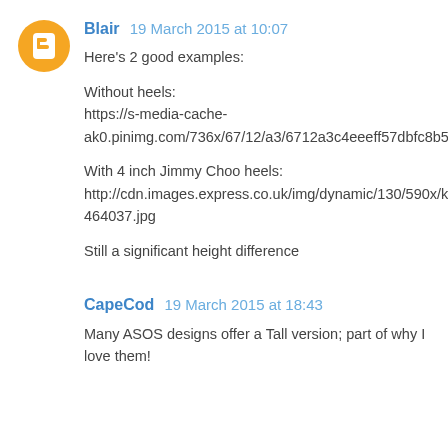Blair  19 March 2015 at 10:07
Here's 2 good examples:

Without heels:
https://s-media-cache-ak0.pinimg.com/736x/67/12/a3/6712a3c4eeeff57dbfc8b5458e11d67f.jpg

With 4 inch Jimmy Choo heels:
http://cdn.images.express.co.uk/img/dynamic/130/590x/kate_middleton_prince_william-464037.jpg

Still a significant height difference
CapeCod  19 March 2015 at 18:43
Many ASOS designs offer a Tall version; part of why I love them!